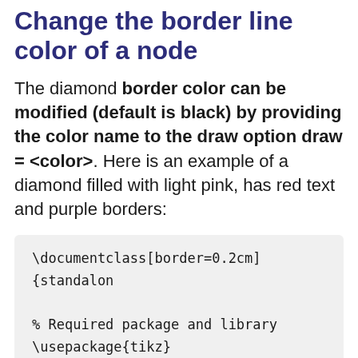Change the border line color of a node
The diamond border color can be modified (default is black) by providing the color name to the draw option draw = <color>. Here is an example of a diamond filled with light pink, has red text and purple borders:
\documentclass[border=0.2cm]{standalon
% Required package and library
\usepackage{tikz}
\usetikzlibrary{shapes.geometric}